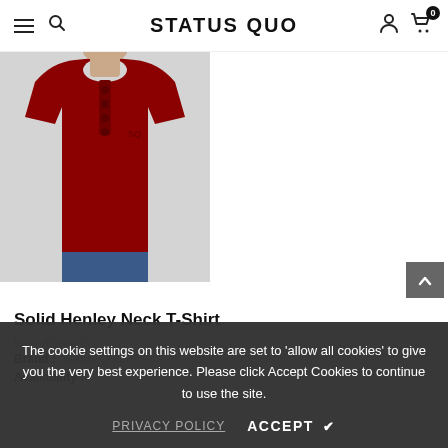STATUS QUO — navigation header with hamburger menu, search, user icon, cart (0)
[Figure (photo): Man wearing a solid maroon/dark red Henley neck T-shirt with short sleeves and button placket, against a light gray background]
Solid Henley Neck T-Shirt
Write a review
Brand : Status Quo
Availability :
The cookie settings on this website are set to 'allow all cookies' to give you the very best experience. Please click Accept Cookies to continue to use the site.
PRIVACY POLICY   ACCEPT ✓